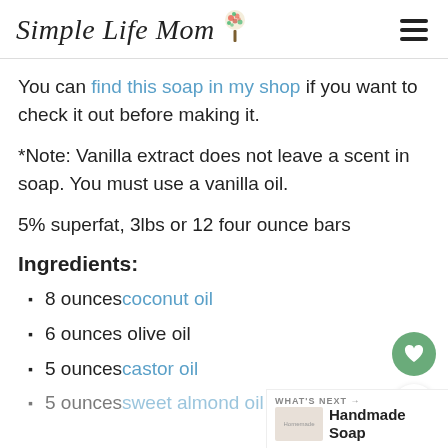Simple Life Mom
You can find this soap in my shop if you want to check it out before making it.
*Note: Vanilla extract does not leave a scent in soap. You must use a vanilla oil.
5% superfat, 3lbs or 12 four ounce bars
Ingredients:
8 ounces coconut oil
6 ounces olive oil
5 ounces castor oil
5 ounces sweet almond oil